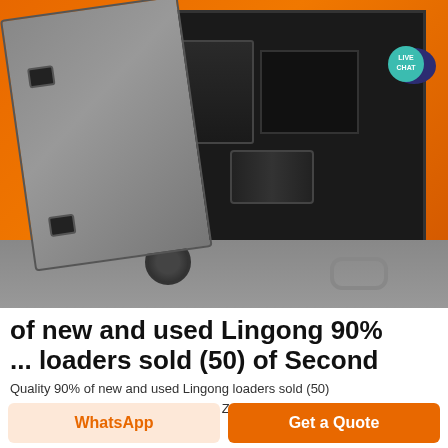[Figure (photo): Orange construction/forklift machine with side panel open, showing internal engine components including black hydraulic unit and cylinder. Gray door panel open to the left with two black latches. Gray fuel tank at bottom with black fuel cap. Live Chat badge in top right corner.]
of new and used Lingong 90% ... loaders sold (50) of Second
Quality 90% of new and used Lingong loaders sold (50)
Netherlands 31 0 348 433 466. New Zealand 553 322. Norway